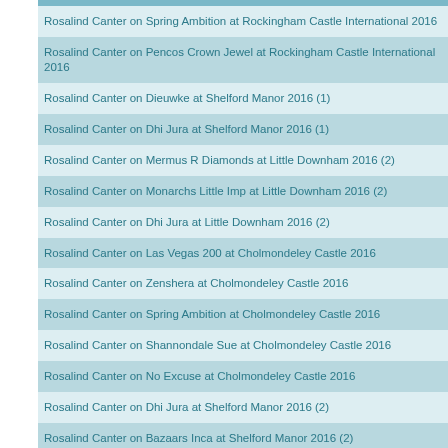Rosalind Canter on Spring Ambition at Rockingham Castle International 2016
Rosalind Canter on Pencos Crown Jewel at Rockingham Castle International 2016
Rosalind Canter on Dieuwke at Shelford Manor 2016 (1)
Rosalind Canter on Dhi Jura at Shelford Manor 2016 (1)
Rosalind Canter on Mermus R Diamonds at Little Downham 2016 (2)
Rosalind Canter on Monarchs Little Imp at Little Downham 2016 (2)
Rosalind Canter on Dhi Jura at Little Downham 2016 (2)
Rosalind Canter on Las Vegas 200 at Cholmondeley Castle 2016
Rosalind Canter on Zenshera at Cholmondeley Castle 2016
Rosalind Canter on Spring Ambition at Cholmondeley Castle 2016
Rosalind Canter on Shannondale Sue at Cholmondeley Castle 2016
Rosalind Canter on No Excuse at Cholmondeley Castle 2016
Rosalind Canter on Dhi Jura at Shelford Manor 2016 (2)
Rosalind Canter on Bazaars Inca at Shelford Manor 2016 (2)
Rosalind Canter on Jamakin Faer Trial at Shelford Manor 2016 (2)
Rosalind Canter on Quite Something at Allerton Park 2016